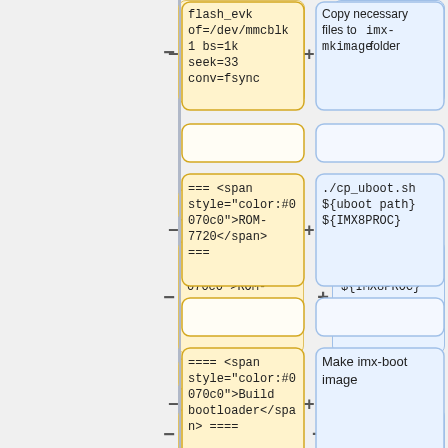[Figure (flowchart): Diff/comparison flowchart showing left (yellow) boxes with code/wiki markup and right (blue) boxes with corresponding commands. Two columns separated by a vertical line with minus and plus signs. Rows: (1) flash_evk of=/dev/mmcblk1 bs=1k seek=33 conv=fsync vs Copy necessary files to imx-mkimage folder; (2) empty placeholders; (3) === <span style='color:#0070c0'>ROM-7720</span> === vs ./cp_uboot.sh ${uboot path} ${IMX8PROC}; (4) empty placeholders; (5) ==== <span style='color:#0070c0'>Build bootloader</span> ==== vs Make imx-boot image; (6) empty placeholders; (7) :1 download vs /mk_imx- (partial)]